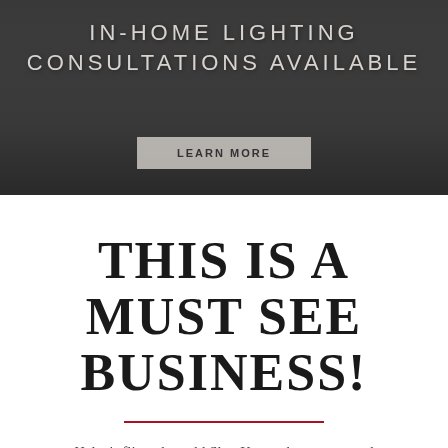[Figure (photo): Group photo of employees/staff standing outside a building, wearing matching dark jackets. Overlaid with text: 'IN-HOME LIGHTING CONSULTATIONS AVAILABLE' and a 'LEARN MORE' button.]
THIS IS A MUST SEE BUSINESS!
Haley's flipped an old ShopKo north property and